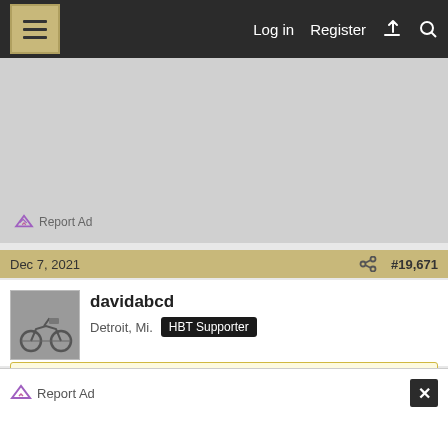Log in  Register
[Figure (screenshot): Gray advertisement area with Report Ad link]
Report Ad
Dec 7, 2021   #19,671
[Figure (photo): Avatar photo of a motorcycle]
davidabcd
Detroit, Mi.  HBT Supporter
seanjwalker1 said: ↑
I only see the Toasted Bock.
Report Ad